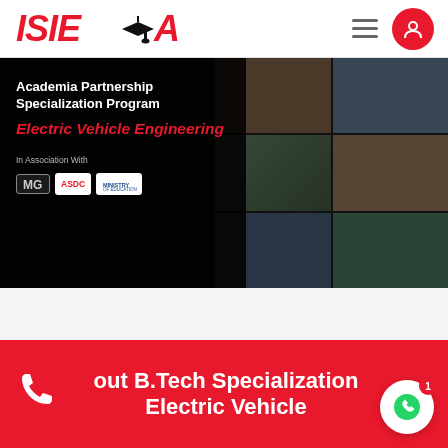[Figure (logo): ISIEINDIA logo in red italic font with graduation cap replacing letter I]
[Figure (screenshot): Hero banner with dark overlay on left showing text and logos, photo grid on right showing people in educational/engineering settings]
Academia Partnership Specialization Program
Electric Vehicle Engineering
In Association With
[Figure (logo): MG, ASDC, and government ministry logos shown in association area]
[Figure (infographic): Red bottom banner with phone icon and text about B.Tech Specialization in Electric Vehicle]
out B.Tech Specialization Electric Vehicle